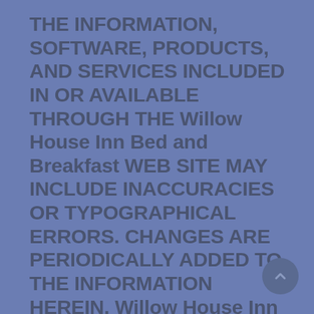THE INFORMATION, SOFTWARE, PRODUCTS, AND SERVICES INCLUDED IN OR AVAILABLE THROUGH THE Willow House Inn Bed and Breakfast WEB SITE MAY INCLUDE INACCURACIES OR TYPOGRAPHICAL ERRORS. CHANGES ARE PERIODICALLY ADDED TO THE INFORMATION HEREIN. Willow House Inn Bed and Breakfast AND/OR ITS SUPPLIERS MAY MAKE IMPROVEMENTS AND/OR CHANGES IN THE Willow House Inn Bed and Breakfast WEB SITE AT ANY TIME. ADVICE RECEIVED VIA THE Willow House Inn Bed and Breakfast WEB SITE SHOULD NOT BE RELIED UPON FOR PERSONAL, MEDICAL, LEGAL OR FINANCIAL DECISIONS AND YOU SHOULD CONSULT AN APPROPRIATE PROFESSIONAL FOR SPECIFIC ADVICE TAILORED TO YOUR SITUATION.